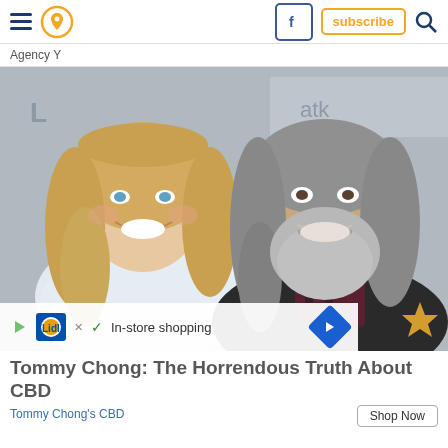Agency Y — navigation bar with hamburger, location pin, Facebook, subscribe, search
Agency Y
[Figure (photo): A blonde woman and an older man with a gray beard and long gray hair smiling together at what appears to be a media event, with AT&T branding visible in the background.]
In-store shopping
Tommy Chong: The Horrendous Truth About CBD
Tommy Chong's CBD
Shop Now